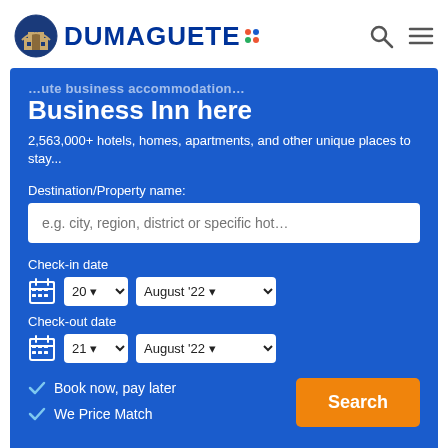[Figure (logo): Dumaguete logo with building icon and colorful dots]
Business Inn here
2,563,000+ hotels, homes, apartments, and other unique places to stay...
Destination/Property name:
e.g. city, region, district or specific hot...
Check-in date
20 | August '22
Check-out date
21 | August '22
Book now, pay later
We Price Match
Search